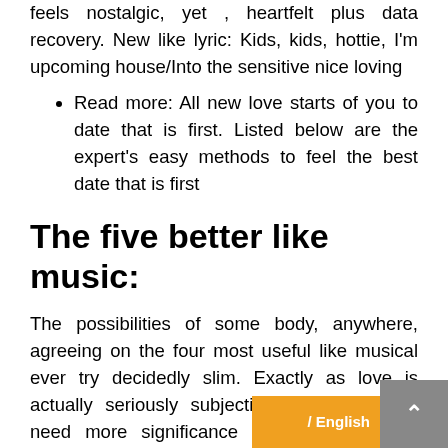feels nostalgic, yet , heartfelt plus data recovery. New like lyric: Kids, kids, hottie, I'm upcoming house/Into the sensitive nice loving
Read more: All new love starts of you to date that is first. Listed below are the expert's easy methods to feel the best date that is first
The five better like music:
The possibilities of some body, anywhere, agreeing on the four most useful like musical ever try decidedly slim. Exactly as love is actually seriously subjective feel, like tunes need more significance depending on that hearing. That being said, listed here are the most useful five love songs